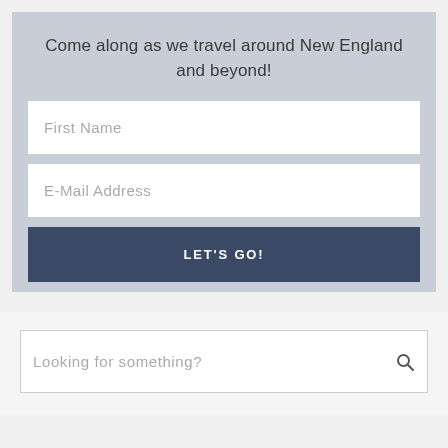Come along as we travel around New England and beyond!
[Figure (screenshot): Email signup form with First Name field, E-Mail Address field, and a LET'S GO! button on a gray-blue background]
[Figure (screenshot): Search bar with placeholder text 'Looking for something?' and a search icon on a light gray background]